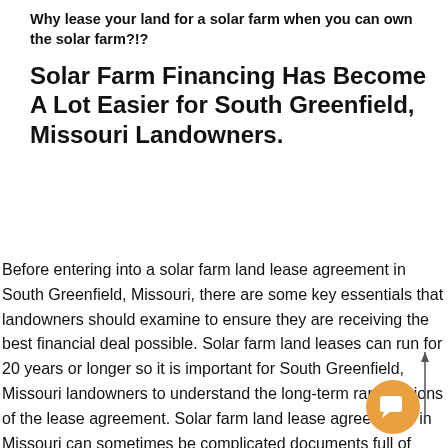Why lease your land for a solar farm when you can own the solar farm?!?
Solar Farm Financing Has Become A Lot Easier for South Greenfield, Missouri Landowners.
Before entering into a solar farm land lease agreement in South Greenfield, Missouri, there are some key essentials that landowners should examine to ensure they are receiving the best financial deal possible. Solar farm land leases can run for 20 years or longer so it is important for South Greenfield, Missouri landowners to understand the long-term ramifications of the lease agreement. Solar farm land lease agreements in Missouri can sometimes be complicated documents full of confusing legal and technical jargon, there are